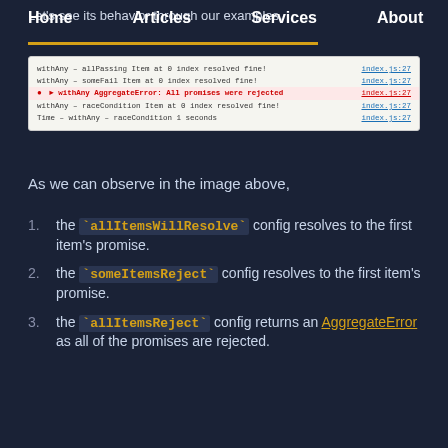Home  Articles  Services  About
Let's see its behavior through our examples.
[Figure (screenshot): Browser console output showing 5 lines: withAny - allPassing Item at 0 index resolved fine! (index.js:27), withAny - someFail Item at 0 index resolved fine! (index.js:27), withAny AggregateError: All promises were rejected (error, highlighted in red, index.js:27), withAny - raceCondition Item at 0 index resolved fine! (index.js:27), Time - withAny - raceCondition 1 seconds (index.js:27)]
As we can observe in the image above,
the `allItemsWillResolve` config resolves to the first item's promise.
the `someItemsReject` config resolves to the first item's promise.
the `allItemsReject` config returns an AggregateError as all of the promises are rejected.